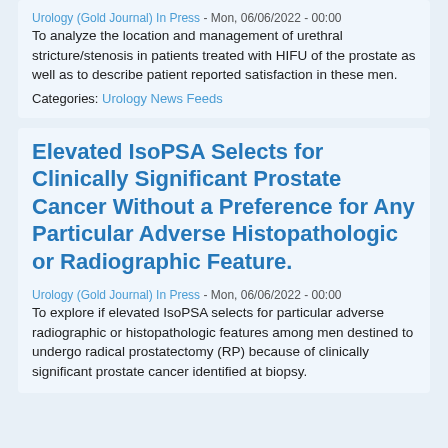Urology (Gold Journal) In Press - Mon, 06/06/2022 - 00:00
To analyze the location and management of urethral stricture/stenosis in patients treated with HIFU of the prostate as well as to describe patient reported satisfaction in these men.
Categories: Urology News Feeds
Elevated IsoPSA Selects for Clinically Significant Prostate Cancer Without a Preference for Any Particular Adverse Histopathologic or Radiographic Feature.
Urology (Gold Journal) In Press - Mon, 06/06/2022 - 00:00
To explore if elevated IsoPSA selects for particular adverse radiographic or histopathologic features among men destined to undergo radical prostatectomy (RP) because of clinically significant prostate cancer identified at biopsy.